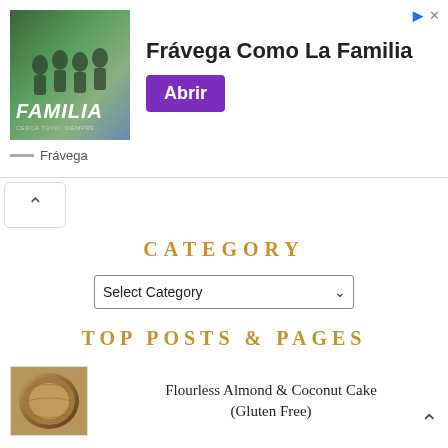[Figure (screenshot): Advertisement banner for Frávega showing 'Frávega Como La Familia' with an image of people playing sports and a purple 'Abrir' button. Shows close icons and Frávega brand name at bottom.]
[Figure (other): Collapse/scroll button with upward chevron arrow]
CATEGORY
[Figure (screenshot): Select Category dropdown widget]
TOP POSTS & PAGES
[Figure (photo): Thumbnail of Flourless Almond & Coconut Cake showing a round cake in a pie dish]
Flourless Almond & Coconut Cake (Gluten Free)
Spicy Chicken Shawarma Pita Pockets